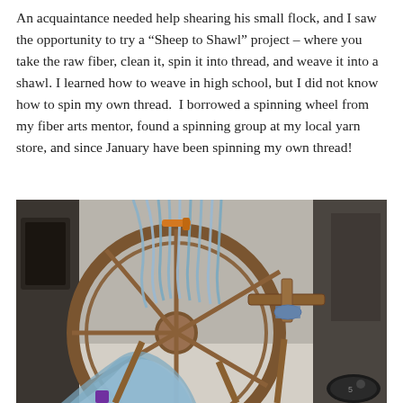An acquaintance needed help shearing his small flock, and I saw the opportunity to try a “Sheep to Shawl” project – where you take the raw fiber, clean it, spin it into thread, and weave it into a shawl. I learned how to weave in high school, but I did not know how to spin my own thread.  I borrowed a spinning wheel from my fiber arts mentor, found a spinning group at my local yarn store, and since January have been spinning my own thread!
[Figure (photo): A wooden spinning wheel with blue-grey yarn/fiber wound around it, sitting in what appears to be a room with other people and furniture in the background. The wheel has a large circular wooden frame and mechanical spinning components visible.]